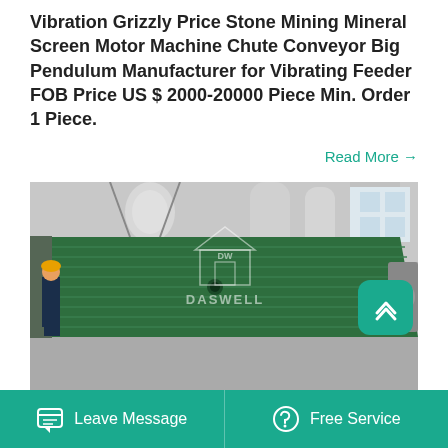Vibration Grizzly Price Stone Mining Mineral Screen Motor Machine Chute Conveyor Big Pendulum Manufacturer for Vibrating Feeder FOB Price US $ 2000-20000 Piece Min. Order 1 Piece.
Read More →
[Figure (photo): Large green vibrating feeder/grizzly screen machine in an industrial factory setting, with a worker in blue workwear standing next to it for scale. The machine is very large and appears to be wrapped in green protective covering. A DASWELL watermark logo is overlaid on the image.]
Leave Message   Free Service